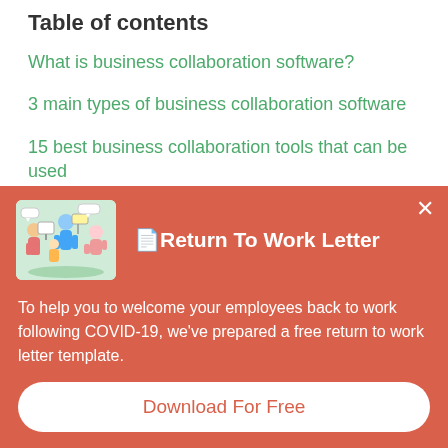Table of contents
What is business collaboration software?
3 main types of business collaboration software
15 best business collaboration tools that can be used
How to choose the right collaboration tools for your team
[Figure (illustration): Group of illustrated people holding signs, on a green background]
📄Return To Work Letter
To help you to welcome your employees back to work following COVID-19, we've prepared a free return to work letter template.
Download For Free